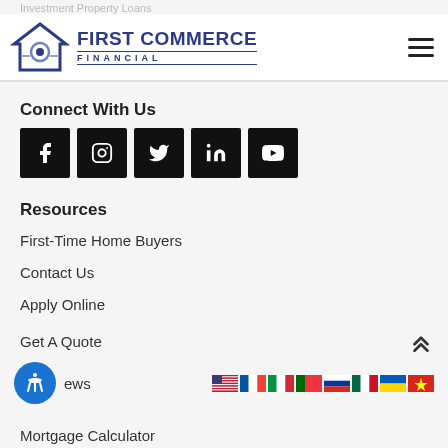Investment Property Loans
[Figure (logo): First Commerce Financial logo with house icon and blue text]
Connect With Us
[Figure (infographic): Social media buttons: Facebook, Instagram, Twitter, LinkedIn, YouTube — black square icons]
Resources
First-Time Home Buyers
Contact Us
Apply Online
Get A Quote
News
Mortgage Calculator